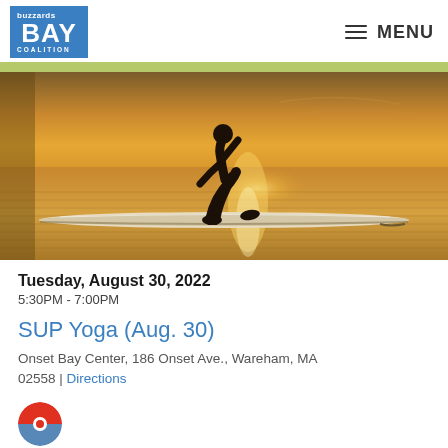[Figure (logo): Buzzards Bay Coalition logo — blue rectangle with 'buzzards BAY COALITION' text in white]
≡ MENU
[Figure (photo): Silhouette of a person doing yoga on a paddleboard (SUP) on golden-hued water at sunset]
Tuesday, August 30, 2022
5:30PM - 7:00PM
SUP Yoga (Aug. 30)
Onset Bay Center, 186 Onset Ave., Wareham, MA 02558 | Directions
[Figure (logo): Red and blue circular icon/badge]